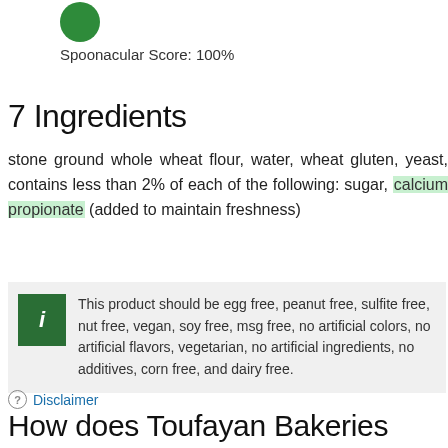Spoonacular Score: 100%
7 Ingredients
stone ground whole wheat flour, water, wheat gluten, yeast, contains less than 2% of each of the following: sugar, calcium propionate (added to maintain freshness)
This product should be egg free, peanut free, sulfite free, nut free, vegan, soy free, msg free, no artificial colors, no artificial flavors, vegetarian, no artificial ingredients, no additives, corn free, and dairy free.
Disclaimer
How does Toufayan Bakeries Pitettes Pita Bread Whole Wheat - 8 CT compare to similar products?